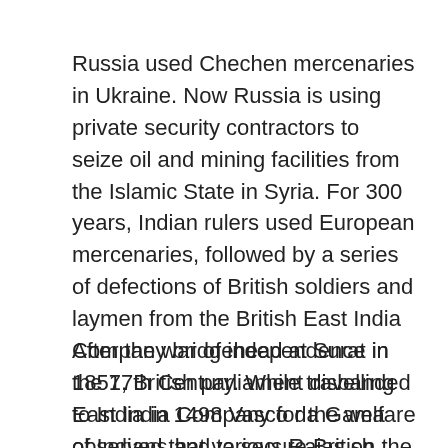Russia used Chechen mercenaries in Ukraine. Now Russia is using private security contractors to seize oil and mining facilities from the Islamic State in Syria. For 300 years, Indian rulers used European mercenaries, followed by a series of defections of British soldiers and laymen from the British East India Company bridgehead at Surat in the 17th Century. While travelling to India in 1498 Vasco da Gama observed that various Rajas on the Malabar Coast had employed Italian mercenaries.
After the war of independence in 1857, British parliament disbanded East India Company for the welfare of Indians and to secure British interests in the subcontinent. Later on England decided that the East India Company model was not suitable to